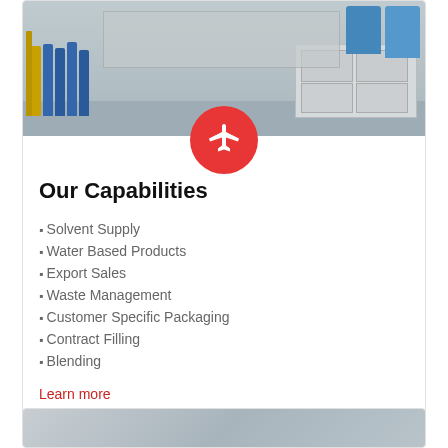[Figure (photo): Warehouse interior showing pallets of blue aerosol cans/cylinders stacked on a pallet jack on the left, white boxed goods on wooden pallets on the right, blue drums in background. A red circular button with a white airplane icon overlays the bottom center of the image.]
Our Capabilities
Solvent Supply
Water Based Products
Export Sales
Waste Management
Customer Specific Packaging
Contract Filling
Blending
Learn more
[Figure (photo): Partial view of another section below, showing the top of another warehouse or facility photo.]